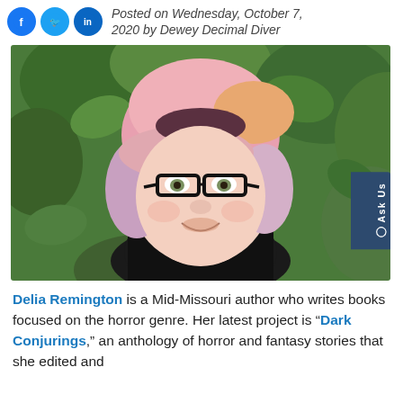Posted on Wednesday, October 7, 2020 by Dewey Decimal Diver
[Figure (photo): Portrait photo of Delia Remington, a woman with pink and lavender hair, black-framed glasses, smiling, wearing a black top, with green leafy background]
Delia Remington is a Mid-Missouri author who writes books focused on the horror genre. Her latest project is "Dark Conjurings," an anthology of horror and fantasy stories that she edited and